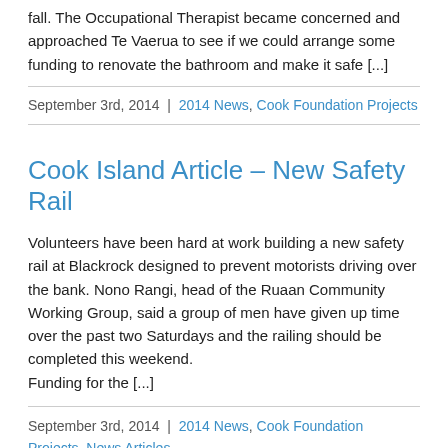fall. The Occupational Therapist became concerned and approached Te Vaerua to see if we could arrange some funding to renovate the bathroom and make it safe [...]
September 3rd, 2014  |  2014 News, Cook Foundation Projects
Cook Island Article – New Safety Rail
Volunteers have been hard at work building a new safety rail at Blackrock designed to prevent motorists driving over the bank. Nono Rangi, head of the Ruaan Community Working Group, said a group of men have given up time over the past two Saturdays and the railing should be completed this weekend.
Funding for the [...]
September 3rd, 2014  |  2014 News, Cook Foundation Projects, News Articles